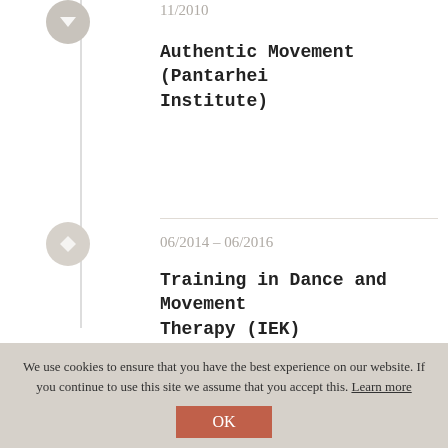11/2010
Authentic Movement (Pantarhei Institute)
06/2014 – 06/2016
Training in Dance and Movement Therapy (IEK)
06/2016
Primary Therapy Assistant (Osho UTA Cologne)
We use cookies to ensure that you have the best experience on our website. If you continue to use this site we assume that you accept this. Learn more
OK